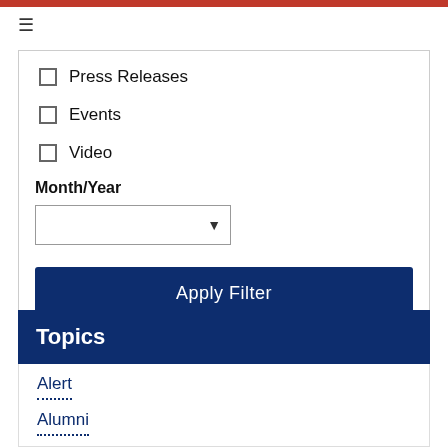Press Releases
Events
Video
Month/Year
Apply Filter
Topics
Alert
Alumni